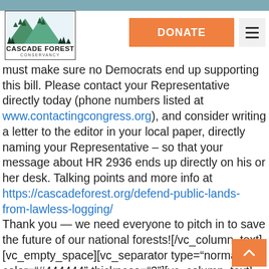[Figure (logo): Cascade Forest Conservancy logo with mountain and trees illustration]
[Figure (other): Orange DONATE button]
[Figure (other): Hamburger menu icon]
must make sure no Democrats end up supporting this bill. Please contact your Representative directly today (phone numbers listed at www.contactingcongress.org), and consider writing a letter to the editor in your local paper, directly naming your Representative – so that your message about HR 2936 ends up directly on his or her desk. Talking points and more info at https://cascadeforest.org/defend-public-lands-from-lawless-logging/
Thank you — we need everyone to pitch in to save the future of our national forests![/vc_column_text][vc_empty_space][vc_separator type="normal" color="#444444" thickness="3"][vc_column_text]